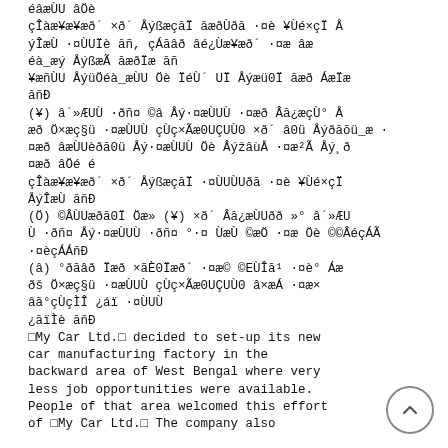éâæÙU âÖè
çÎàæ¥æð´ ×ð´ ÅýßæçāÏ āæðÙð ·¤è ¥Ùé×çÏ Å ýÎæÙ ·¤ÙUÏè āñ, çÁāâð âé¿Ùæ¥æð´ ·¤æ âæ éà_æý ÅýßæÃ āæðÏæ āñ
¥æñÙU Åýü0éà_æÙU Öè ÏéÙ´ UÏ Åýæü0Ï āæð ÁæÏæ āñÐ
(¥) â´»ÆUÙ ·ðñ¤ ©â Åý·¤æÙUÙ ·¤æð Âā¿æçÙ° Å æð Ö×æç§ü ·¤æÙUÙ çÙç×Ãæ0UÇUÙ0 ×ð´ âü ÅýðāõÃ_æ ·¤æð âÖè âÎ÷¸ü
çÎàæ¥æ¥æð´ ×ð´ ÅýßæçāÏ ·¤ÙUÙUðā ·¤è ¥Ùé×çÏ ÅýÎæÙ
(Ö) ©ÂÙUæðā0Ï Öæ» (¥) ×ð´ Âā¿æÙUðð »° â´»ÆU Ù ·ðñ¤ Åý·¤æÙUÙ ·ðñ¤ °·¤ ©×êà0 ÙæÃ ·¤è Üæð0 ©æÖ ·¤æ Öè ©©ÂéçÁÃ°
·¤èçÁÁñÐ
(â) °ðāâð Ïæð ×ãÈ0Ïæð´ ·¤æ© ©EÙÎā¹ ·¤è°©çÁÁé° Âæ ðš Ö×æç§ü ·¤æÙUÙ çÙç×Ãæ0UÇUÙ0 â×æ·Á ·¤æ× âæã°çÙçÌÎ ¿áï ·¤ÙUÙ
¿āïÌè āñÐ
□My Car Ltd.□ decided to set-up its new car manufacturing factory in the backward area of West Bengal where very less job opportunities were available. People of that area welcomed this effort of □My Car Ltd.□ The company also